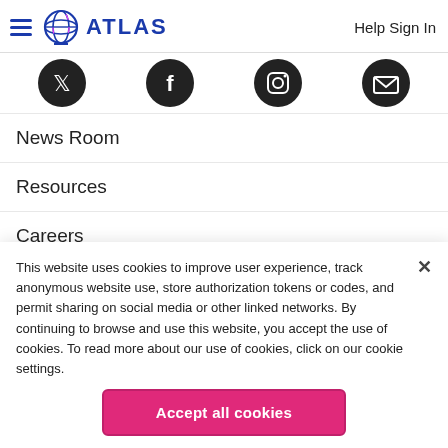ATLAS  Help Sign In
[Figure (illustration): Four partially cropped circular social media icons (Twitter, Facebook/TikTok, Instagram/other, Mailchimp/other) shown as dark circles with white icons]
News Room
Resources
Careers
This website uses cookies to improve user experience, track anonymous website use, store authorization tokens or codes, and permit sharing on social media or other linked networks. By continuing to browse and use this website, you accept the use of cookies. To read more about our use of cookies, click on our cookie settings.
Accept all cookies